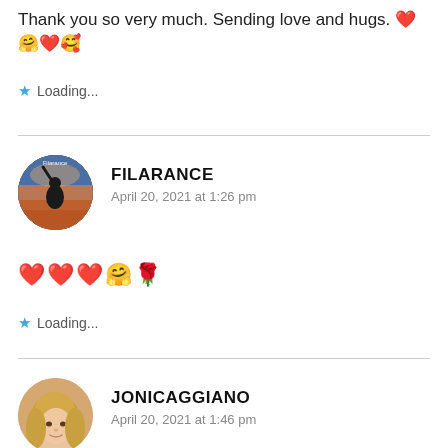Thank you so very much. Sending love and hugs. ❤️🤗❤️🥰
★ Loading...
FILARANCE
April 20, 2021 at 1:26 pm
[Figure (photo): Circular avatar of Filarance: silhouette of a person with arm raised against a colorful sky background, with text 'Filarance' overlaid]
❤️❤️❤️🤗🌹
★ Loading...
JONICAGGIANO
April 20, 2021 at 1:46 pm
[Figure (photo): Circular avatar of Jonicaggiano: a woman with blonde hair, partial face visible]